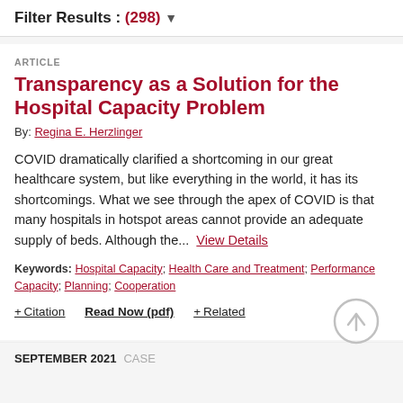Filter Results : (298) ▼
ARTICLE
Transparency as a Solution for the Hospital Capacity Problem
By: Regina E. Herzlinger
COVID dramatically clarified a shortcoming in our great healthcare system, but like everything in the world, it has its shortcomings. What we see through the apex of COVID is that many hospitals in hotspot areas cannot provide an adequate supply of beds. Although the... View Details
Keywords: Hospital Capacity; Health Care and Treatment; Performance Capacity; Planning; Cooperation
+ Citation    Read Now (pdf)    + Related
SEPTEMBER 2021  CASE